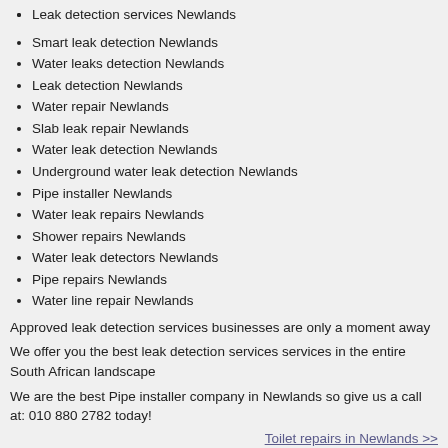Leak detection services Newlands
Smart leak detection Newlands
Water leaks detection Newlands
Leak detection Newlands
Water repair Newlands
Slab leak repair Newlands
Water leak detection Newlands
Underground water leak detection Newlands
Pipe installer Newlands
Water leak repairs Newlands
Shower repairs Newlands
Water leak detectors Newlands
Pipe repairs Newlands
Water line repair Newlands
Approved leak detection services businesses are only a moment away
We offer you the best leak detection services services in the entire South African landscape
We are the best Pipe installer company in Newlands so give us a call at: 010 880 2782 today!
Toilet repairs in Newlands >>
-> Pipe installer in Silver Lakes
-> Pipe installer in Siluma View